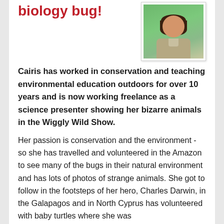biology bug!
[Figure (photo): Portrait photo of a woman with dark hair wearing a tan/khaki uniform shirt, photographed against a green background]
Cairis has worked in conservation and teaching environmental education outdoors for over 10 years and is now working freelance as a science presenter showing her bizarre animals in the Wiggly Wild Show.
Her passion is conservation and the environment - so she has travelled and volunteered in the Amazon to see many of the bugs in their natural environment and has lots of photos of strange animals. She got to follow in the footsteps of her hero, Charles Darwin, in the Galapagos and in North Cyprus has volunteered with baby turtles where she was